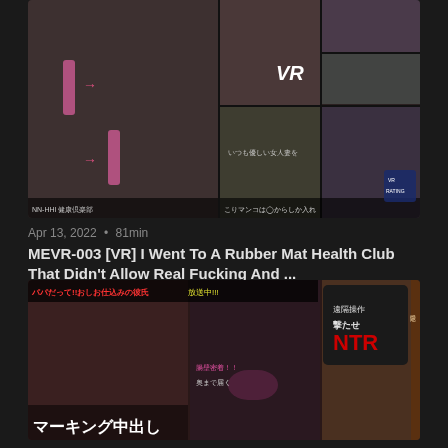[Figure (photo): Mosaic/grid thumbnail for adult VR video MEVR-003, showing a collage of scenes with Japanese text overlays]
Apr 13, 2022 • 81min
MEVR-003 [VR] I Went To A Rubber Mat Health Club That Didn't Allow Real Fucking And ...
[Figure (photo): Thumbnail for another adult video showing women with Japanese text overlay including NTR marking and マーキング中出し text]